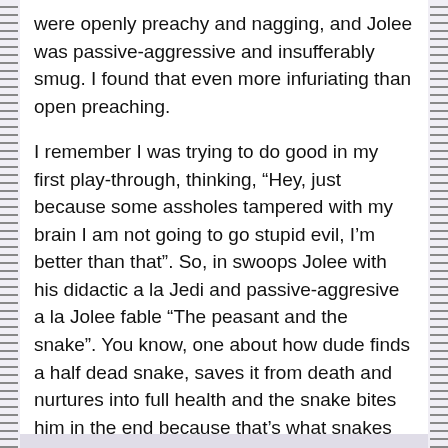were openly preachy and nagging, and Jolee was passive-aggressive and insufferably smug. I found that even more infuriating than open preaching.
I remember I was trying to do good in my first play-through, thinking, “Hey, just because some assholes tampered with my brain I am not going to go stupid evil, I’m better than that”. So, in swoops Jolee with his didactic a la Jedi and passive-aggresive a la Jolee fable “The peasant and the snake”. You know, one about how dude finds a half dead snake, saves it from death and nurtures into full health and the snake bites him in the end because that’s what snakes do. And that was the tipping point. I somehow managed to finish that goodish play-through, but after that? That’s what snakes do, eh Bindo? Alright then.
Reply